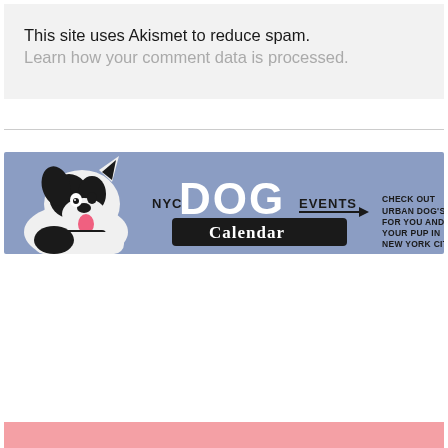This site uses Akismet to reduce spam. Learn how your comment data is processed.
[Figure (illustration): NYC Dog Events Calendar banner advertisement. Purple/periwinkle background with a black and white illustrated dog (Boston Terrier style) on the left. Center text reads 'NYC DOG EVENTS Calendar' with an arrow. Right side text reads 'CHECK OUT URBAN DOG'S PICKS FOR YOU AND YOUR PUP IN NEW YORK CITY']
[Figure (illustration): Partial pink banner visible at bottom of page, cropped]